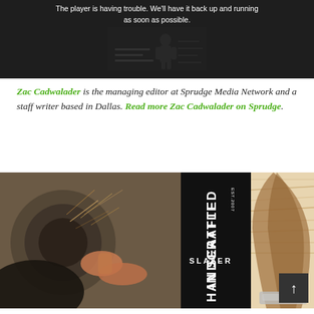[Figure (photo): Dark video player placeholder image showing a silhouetted figure in a dim room, with white text overlay reading 'The player is having trouble. We'll have it back up and running as soon as possible.']
Zac Cadwalader is the managing editor at Sprudge Media Network and a staff writer based in Dallas. Read more Zac Cadwalader on Sprudge.
[Figure (photo): Advertisement image for Slayer espresso machines, showing hands working on a wood lathe with shavings flying on the left, a black panel in the center reading 'HANDCRAFTED IN SEATTLE EST.2007 SLAYER' in white vertical text, and a wooden espresso machine handle detail on the right.]